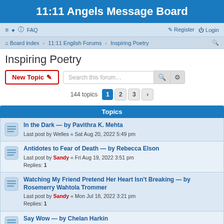11:11 Angels Message Board
≡  FAQ   Register  Login
Board index · 11:11 English Forums · Inspiring Poetry
Inspiring Poetry
New Topic  Search this forum…  [search] [advanced]
144 topics  1  2  3  >
Topics
In the Dark — by Pavithra K. Mehta
Last post by Welles « Sat Aug 20, 2022 5:49 pm
Antidotes to Fear of Death — by Rebecca Elson
Last post by Sandy « Fri Aug 19, 2022 3:51 pm
Replies: 1
Watching My Friend Pretend Her Heart Isn't Breaking — by Rosemerry Wahtola Trommer
Last post by Sandy « Mon Jul 18, 2022 3:21 pm
Replies: 1
Say Wow — by Chelan Harkin
Last post by happyrain « Thu Apr 28, 2022 3:07 pm
Replies: 2